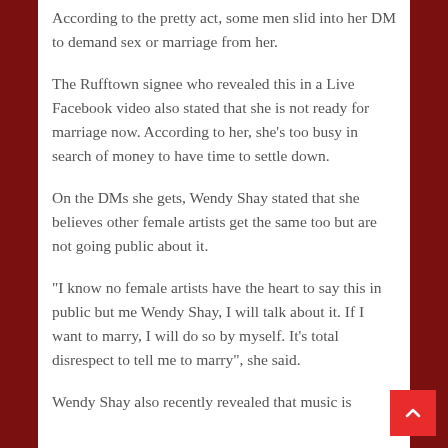According to the pretty act, some men slid into her DM to demand sex or marriage from her.
The Rufftown signee who revealed this in a Live Facebook video also stated that she is not ready for marriage now. According to her, she's too busy in search of money to have time to settle down.
On the DMs she gets, Wendy Shay stated that she believes other female artists get the same too but are not going public about it.
“I know no female artists have the heart to say this in public but me Wendy Shay, I will talk about it. If I want to marry, I will do so by myself. It’s total disrespect to tell me to marry”, she said.
Wendy Shay also recently revealed that music is